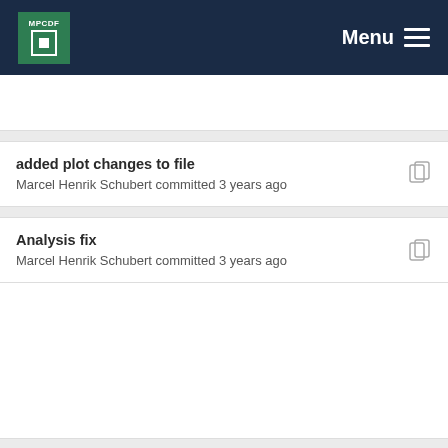MPCDF  Menu
added plot changes to file
Marcel Henrik Schubert committed 3 years ago
Analysis fix
Marcel Henrik Schubert committed 3 years ago
added plot changes to file
Marcel Henrik Schubert committed 3 years ago